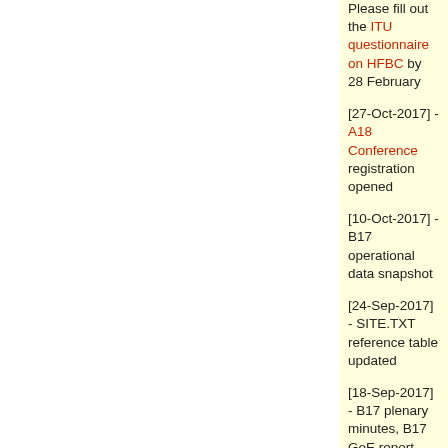Please fill out the ITU questionnaire on HFBC by 28 February
[27-Oct-2017] - A18 Conference registration opened
[10-Oct-2017] - B17 operational data snapshot
[24-Sep-2017] - SITE.TXT reference table updated
[18-Sep-2017] - B17 plenary minutes, B17 GoE report
[31-Aug-2017] - B17 coordinated data snapshot; Deadline for B17 operational data: 9 October